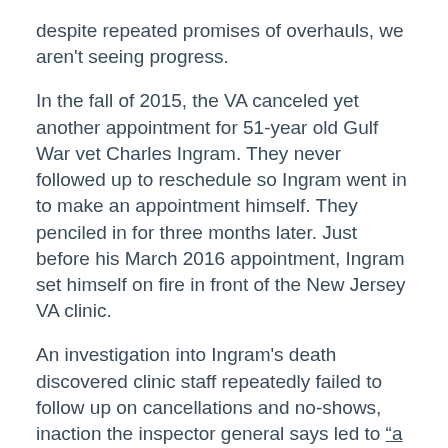despite repeated promises of overhauls, we aren't seeing progress.
In the fall of 2015, the VA canceled yet another appointment for 51-year old Gulf War vet Charles Ingram. They never followed up to reschedule so Ingram went in to make an appointment himself. They penciled in for three months later. Just before his March 2016 appointment, Ingram set himself on fire in front of the New Jersey VA clinic.
An investigation into Ingram's death discovered clinic staff repeatedly failed to follow up on cancellations and no-shows, inaction the inspector general says led to "a lack of ordered therapy and necessary medications…"
Five months later, 76-year-old Navy veteran and former police officer Peter A. Kaisen shot himself in the parking